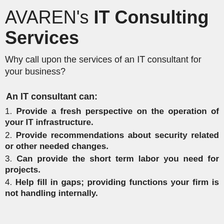AVAREN's IT Consulting Services
Why call upon the services of an IT consultant for your business?
An IT consultant can:
1. Provide a fresh perspective on the operation of your IT infrastructure.
2. Provide recommendations about security related or other needed changes.
3. Can provide the short term labor you need for projects.
4. Help fill in gaps; providing functions your firm is not handling internally.